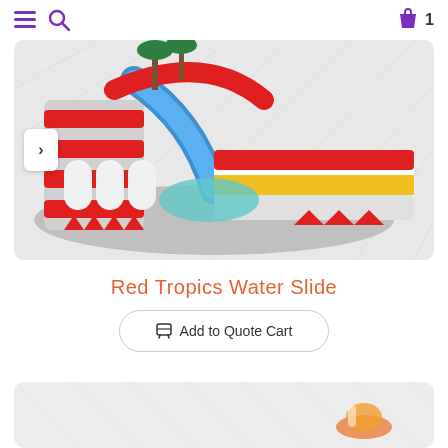Navigation menu, search, and cart (1 item)
[Figure (photo): Red Tropics Water Slide inflatable bounce house with blue slide, red and white colors, tropical palm tree decoration, with diagonal watermark lines]
Red Tropics Water Slide
Add to Quote Cart
[Figure (photo): Partial view of a second inflatable product with watermark lines]